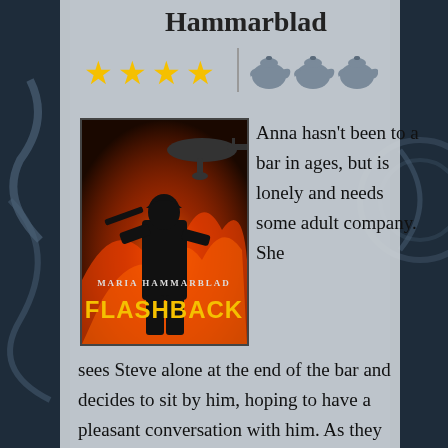Hammarblad
[Figure (infographic): 4 yellow star rating icons and a vertical divider followed by 3 grey teapot icons representing a rating system]
[Figure (illustration): Book cover for 'Flashback' by Maria Hammarblad showing a soldier silhouette against a fiery background]
Anna hasn't been to a bar in ages, but is lonely and needs some adult company. She sees Steve alone at the end of the bar and decides to sit by him, hoping to have a pleasant conversation with him. As they talk, Anna finds herself drawn to